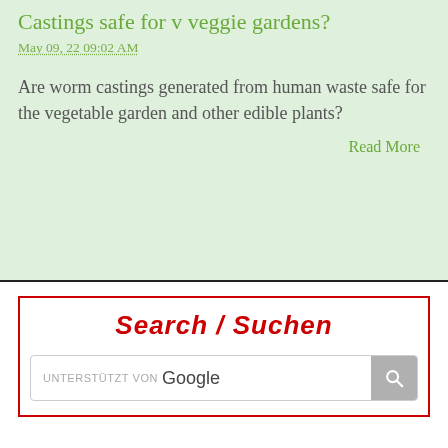Castings safe for v veggie gardens?
May 09, 22 09:02 AM
Are worm castings generated from human waste safe for the vegetable garden and other edible plants?
Read More
Search / Suchen
UNTERSTÜTZT VON Google